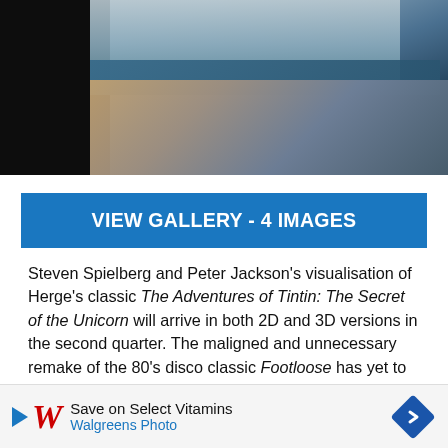[Figure (photo): Top portion of a photo showing two people, one in a teal shirt, with ocean/sea visible in background, dark area on left side.]
VIEW GALLERY - 4 IMAGES
Steven Spielberg and Peter Jackson's visualisation of Herge's classic The Adventures of Tintin: The Secret of the Unicorn will arrive in both 2D and 3D versions in the second quarter. The maligned and unnecessary remake of the 80's disco classic Footloose has yet to be set. Before the release of the last part in the saga, The Twilight Saga: Breaking Dawn Part 1 will see a release, Dreamwork's Shrek spin-off character Puss In Boots will see a 2D and eventual 3D release, Disney's revitalised The Muppets will bow in the second quarter, the blink-and-yo keteers might f d 3D
[Figure (screenshot): Walgreens Photo advertisement bar: 'Save on Select Vitamins' with Walgreens logo and navigation icon.]